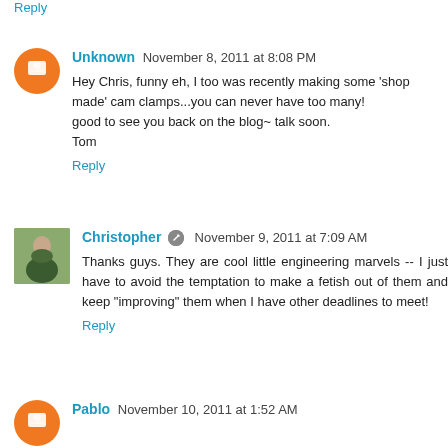Reply
Unknown  November 8, 2011 at 8:08 PM
Hey Chris, funny eh, I too was recently making some 'shop made' cam clamps...you can never have too many!
good to see you back on the blog~ talk soon.
Tom
Reply
Christopher  November 9, 2011 at 7:09 AM
Thanks guys. They are cool little engineering marvels -- I just have to avoid the temptation to make a fetish out of them and keep "improving" them when I have other deadlines to meet!
Reply
Pablo  November 10, 2011 at 1:52 AM